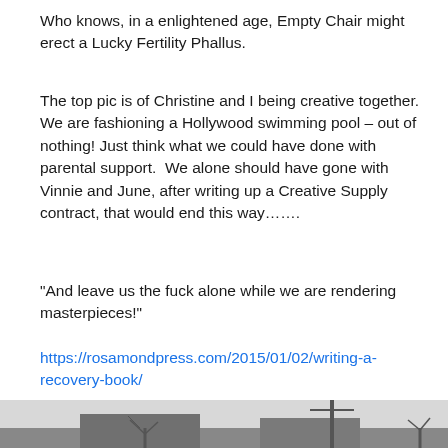Who knows, in a enlightened age, Empty Chair might erect a Lucky Fertility Phallus.
The top pic is of Christine and I being creative together. We are fashioning a Hollywood swimming pool – out of nothing! Just think what we could have done with parental support.  We alone should have gone with Vinnie and June, after writing up a Creative Supply contract, that would end this way…….
“And leave us the fuck alone while we are rendering masterpieces!”
https://rosamondpress.com/2015/01/02/writing-a-recovery-book/
[Figure (photo): Black and white photograph showing a low-angle view of buildings and a utility pole against a light sky, with a bare tree visible on the left side.]